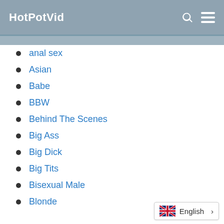HotPotVid
anal sex
Asian
Babe
BBW
Behind The Scenes
Big Ass
Big Dick
Big Tits
Bisexual Male
Blonde
English